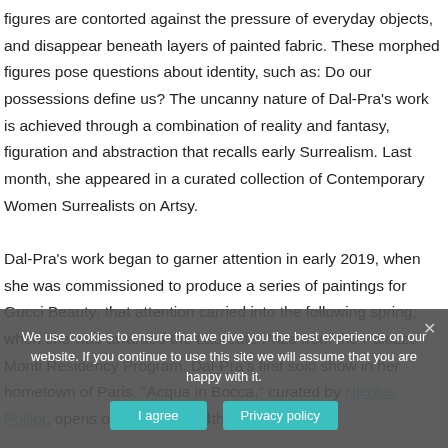figures are contorted against the pressure of everyday objects, and disappear beneath layers of painted fabric. These morphed figures pose questions about identity, such as: Do our possessions define us? The uncanny nature of Dal-Pra's work is achieved through a combination of reality and fantasy, figuration and abstraction that recalls early Surrealism. Last month, she appeared in a curated collection of Contemporary Women Surrealists on Artsy.

Dal-Pra's work began to garner attention in early 2019, when she was commissioned to produce a series of paintings for Gucci Beauty; that attention carried into the following spring, when she was awarded the Laureate Prize from the Palazzo Monti Residency Program. Dal-Pra's first solo show in her hometown of Paris, "Acqua in Bocca," curated by Nicolas Poillot, opens on September 4th at
We use cookies to ensure that we give you the best experience on our website. If you continue to use this site we will assume that you are happy with it.